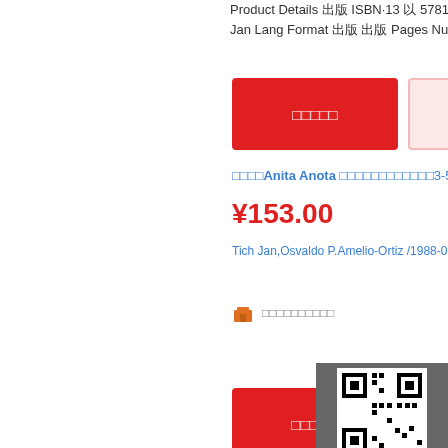Product Details 出版 ISBN·13 以 5781 Jan Lang Format 出版 出版 Pages Number
[Figure (screenshot): Red button with Chinese characters and pink outline button with Chinese characters]
□□□□Anita Anota □□□□□□□□□□□□3-5□□□□
¥153.00
Tich Jan,Osvaldo P.Amelio-Ortiz /1988-0
[Figure (screenshot): Store icon with Chinese text]
[Figure (screenshot): Red add-to-cart button and pink button row at bottom]
□□□□Rese as Biogr Ficas □ □nalic
¥1093
Ra L Osvaldo Quintana Su
[Figure (screenshot): QR code panel with 扫一扫 label, dark overlay with Chinese text, up arrow button, small button]